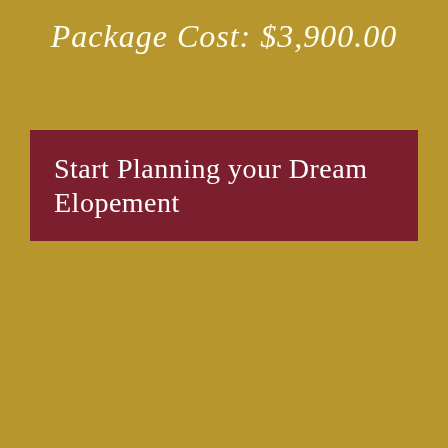Package Cost: $3,900.00
Start Planning your Dream Elopement